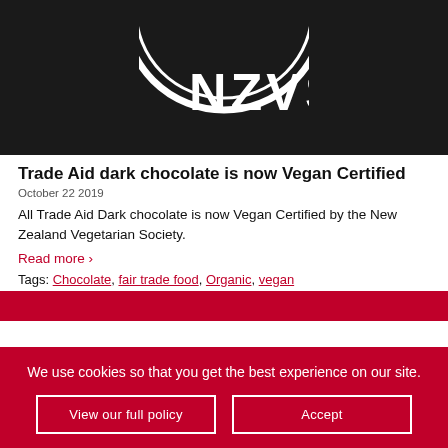[Figure (logo): NZVS circular logo on black background, partially cropped]
Trade Aid dark chocolate is now Vegan Certified
October 22 2019
All Trade Aid Dark chocolate is now Vegan Certified by the New Zealand Vegetarian Society.
Read more ›
Tags: Chocolate, fair trade food, Organic, vegan
[Figure (photo): Partial photo visible at bottom, mostly covered by cookie banner]
We use cookies so that you get the best experience on our site. View our full policy | Accept